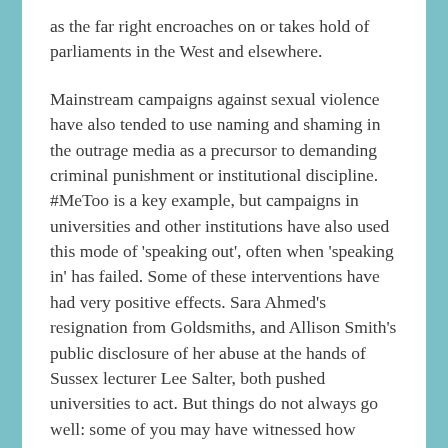as the far right encroaches on or takes hold of parliaments in the West and elsewhere.
Mainstream campaigns against sexual violence have also tended to use naming and shaming in the outrage media as a precursor to demanding criminal punishment or institutional discipline. #MeToo is a key example, but campaigns in universities and other institutions have also used this mode of 'speaking out', often when 'speaking in' has failed. Some of these interventions have had very positive effects. Sara Ahmed's resignation from Goldsmiths, and Allison Smith's public disclosure of her abuse at the hands of Sussex lecturer Lee Salter, both pushed universities to act. But things do not always go well: some of you may have witnessed how Sophia Cooke from Cambridge was monstered in the press, following a university inquiry